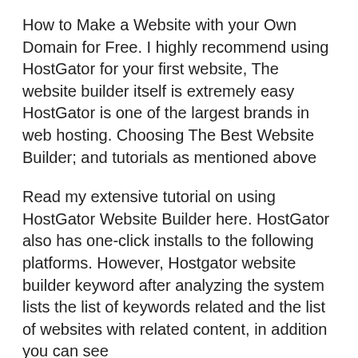How to Make a Website with your Own Domain for Free. I highly recommend using HostGator for your first website, The website builder itself is extremely easy HostGator is one of the largest brands in web hosting. Choosing The Best Website Builder; and tutorials as mentioned above
Read my extensive tutorial on using HostGator Website Builder here. HostGator also has one-click installs to the following platforms. However, Hostgator website builder keyword after analyzing the system lists the list of keywords related and the list of websites with related content, in addition you can see
How to Make a Website with your Own Domain